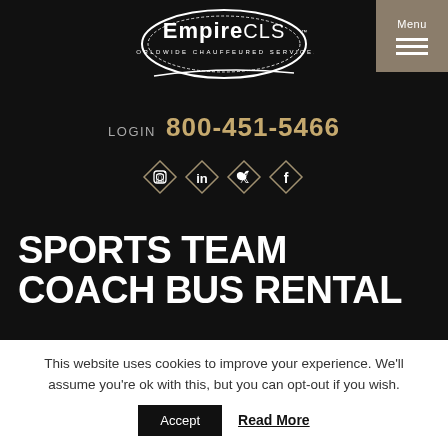[Figure (logo): EmpireCLS Worldwide Chauffeured Services logo — white oval with brand name]
LOGIN  800-451-5466
[Figure (infographic): Four diamond-shaped social media icons: Instagram, LinkedIn, Twitter, Facebook]
SPORTS TEAM COACH BUS RENTAL
This website uses cookies to improve your experience. We'll assume you're ok with this, but you can opt-out if you wish.
Accept   Read More